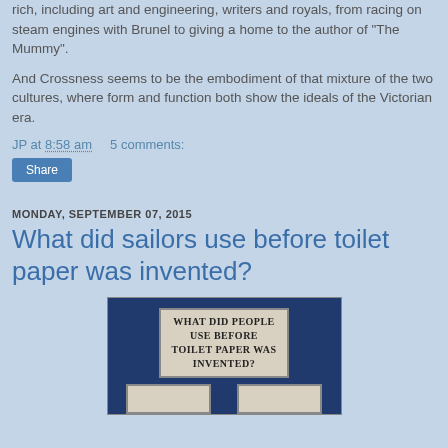rich, including art and engineering, writers and royals, from racing on steam engines with Brunel to giving a home to the author of "The Mummy".
And Crossness seems to be the embodiment of that mixture of the two cultures, where form and function both show the ideals of the Victorian era.
JP at 8:58 am    5 comments:
Share
MONDAY, SEPTEMBER 07, 2015
What did sailors use before toilet paper was invented?
[Figure (photo): Image with dark blue background containing a label box reading 'WHAT DID PEOPLE USE BEFORE TOILET PAPER WAS INVENTED?' and two smaller boxes below]